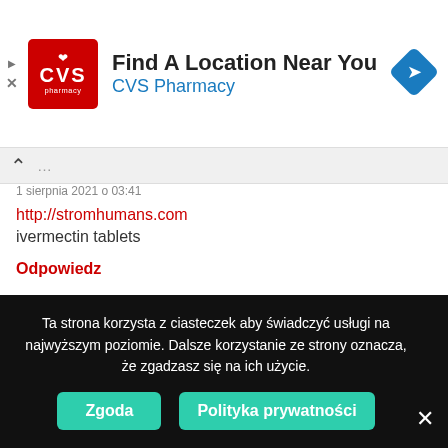[Figure (screenshot): CVS Pharmacy advertisement banner with logo, 'Find A Location Near You' headline, navigation arrow icon]
1 sierpnia 2021 o 03:41
http://stromhumans.com
ivermectin tablets
Odpowiedz
GoTes pisze:
1 sierpnia 2021 o 09:25
Ta strona korzysta z ciasteczek aby świadczyć usługi na najwyższym poziomie. Dalsze korzystanie ze strony oznacza, że zgadzasz się na ich użycie.